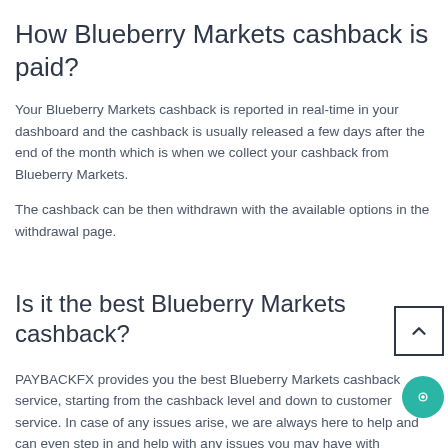How Blueberry Markets cashback is paid?
Your Blueberry Markets cashback is reported in real-time in your dashboard and the cashback is usually released a few days after the end of the month which is when we collect your cashback from Blueberry Markets.
The cashback can be then withdrawn with the available options in the withdrawal page.
Is it the best Blueberry Markets cashback?
PAYBACKFX provides you the best Blueberry Markets cashback service, starting from the cashback level and down to customer service. In case of any issues arise, we are always here to help and can even step in and help with any issues you may have with Blueberry Markets.